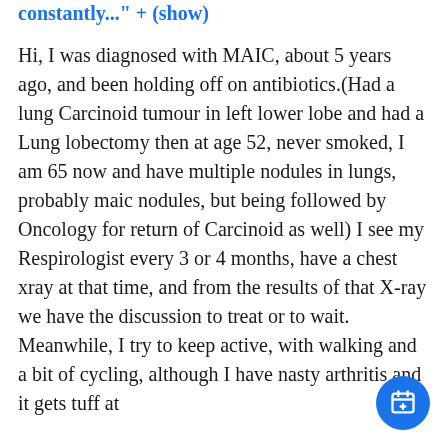constantly..." + (show)
Hi, I was diagnosed with MAIC, about 5 years ago, and been holding off on antibiotics.(Had a lung Carcinoid tumour in left lower lobe and had a Lung lobectomy then at age 52, never smoked, I am 65 now and have multiple nodules in lungs, probably maic nodules, but being followed by Oncology for return of Carcinoid as well) I see my Respirologist every 3 or 4 months, have a chest xray at that time, and from the results of that X-ray we have the discussion to treat or to wait. Meanwhile, I try to keep active, with walking and a bit of cycling, although I have nasty arthritis and it gets tuff at